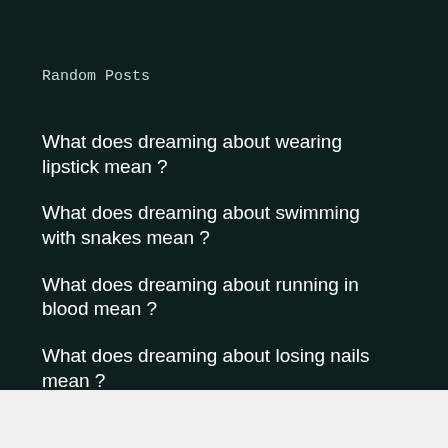Random Posts
What does dreaming about wearing lipstick mean ?
What does dreaming about swimming with snakes mean ?
What does dreaming about running in blood mean ?
What does dreaming about losing nails mean ?